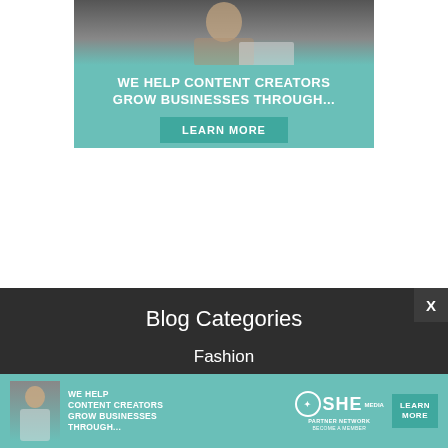[Figure (illustration): Advertisement banner for SHE Media Partner Network. Top portion shows a photo of a woman at a laptop with teal overlay. Below is teal background with white bold text 'WE HELP CONTENT CREATORS GROW BUSINESSES THROUGH...' and a 'LEARN MORE' button in darker teal.]
Blog Categories
Fashion
Food
Houston
My Outfits
[Figure (illustration): Bottom advertisement strip for SHE Media Partner Network with teal background, woman photo on left, text 'WE HELP CONTENT CREATORS GROW BUSINESSES THROUGH...', SHE Partner Network logo in center, and 'LEARN MORE' button on right.]